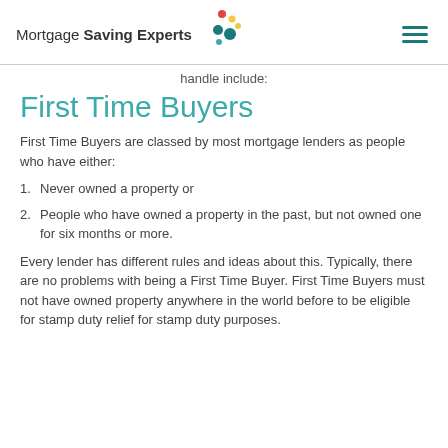Mortgage Saving Experts
handle include:
First Time Buyers
First Time Buyers are classed by most mortgage lenders as people who have either:
1. Never owned a property or
2. People who have owned a property in the past, but not owned one for six months or more.
Every lender has different rules and ideas about this. Typically, there are no problems with being a First Time Buyer. First Time Buyers must not have owned property anywhere in the world before to be eligible for stamp duty relief for stamp duty purposes.